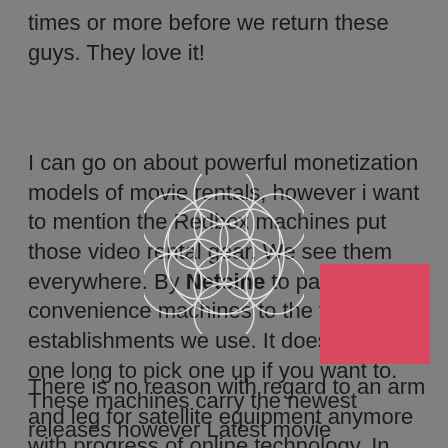times or more before we return these guys. They love it!
I can go on about powerful monetization models of movie rentals, however i want to mention the Redbox machines put those video rental gear. We see them everywhere. By Netcine to past convenience machines to the fast food establishments we use. It doesn’t take one long to pick one up if you want to. These machines carry the newest releases however Latest movie superstars. The price is right and yes it narrows down our choices so it’s quick. That is the beauty than me.
There is no reason with regard to an arm and leg for satellite equipment anymore with progress of online technology. In fact, you indeed up